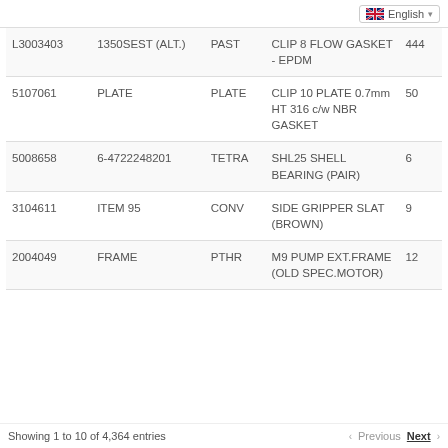|  |  |  |  |  |
| --- | --- | --- | --- | --- |
| L3003403 | 1350SEST (ALT.) | PAST | CLIP 8 FLOW GASKET - EPDM | 444 |
| 5107061 | PLATE | PLATE | CLIP 10 PLATE 0.7mm HT 316 c/w NBR GASKET | 50 |
| 5008658 | 6-4722248201 | TETRA | SHL25 SHELL BEARING (PAIR) | 6 |
| 3104611 | ITEM 95 | CONV | SIDE GRIPPER SLAT (BROWN) | 9 |
| 2004049 | FRAME | PTHR | M9 PUMP EXT.FRAME (OLD SPEC.MOTOR) | 12 |
Showing 1 to 10 of 4,364 entries   Previous  Next